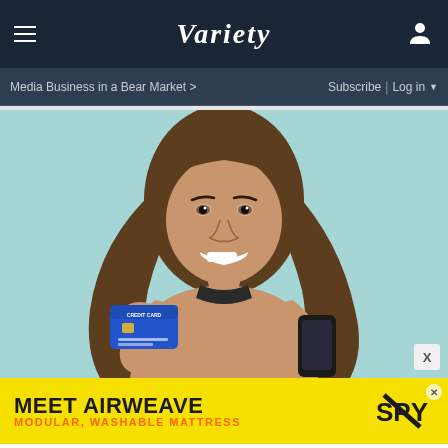VARIETY
Media Business in a Bear Market > | Subscribe | Log in
[Figure (photo): Young woman smiling, holding a blue credit card in one hand and a smartphone in the other, standing against a light teal background, wearing a beige top.]
[Figure (infographic): Advertisement banner: MEET AIRWEAVE / MODULAR, WASHABLE MATTRESS with SPY logo on yellow background]